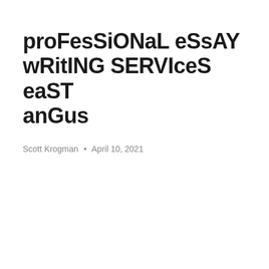proFesSiONaL eSsAY wRitING SERVIceS eaST anGus
Scott Krogman • April 10, 2021